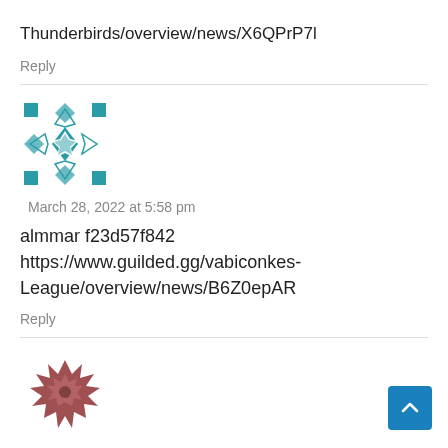Thunderbirds/overview/news/X6QPrP7l
Reply
[Figure (illustration): Teal geometric/quilted pattern avatar icon]
March 28, 2022 at 5:58 pm
almmar f23d57f842
https://www.guilded.gg/vabiconkes-League/overview/news/B6Z0epAR
Reply
[Figure (illustration): Brown spiky/organic pattern avatar icon]
March 28, 2022 at 2:32 pm